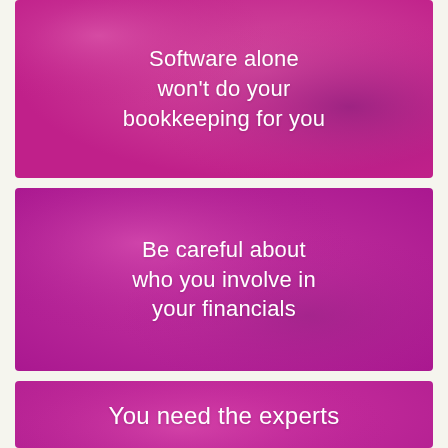[Figure (illustration): Pink/magenta gradient background panel with white text: 'Software alone won't do your bookkeeping for you']
[Figure (illustration): Pink/magenta gradient background panel with white text: 'Be careful about who you involve in your financials']
[Figure (illustration): Pink/magenta gradient background panel with white text: 'You need the experts' (partially visible)]